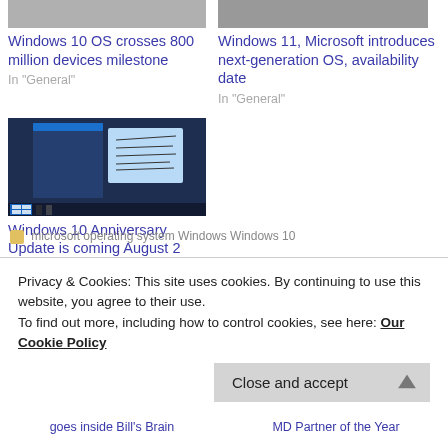[Figure (photo): Thumbnail photo (top left article)]
Windows 10 OS crosses 800 million devices milestone
In "General"
[Figure (photo): Thumbnail photo (top right article)]
Windows 11, Microsoft introduces next-generation OS, availability date
In "General"
[Figure (screenshot): Screenshot of Windows 10 desktop with sticky note mentioning Windows 10 Anniversary Update available August 2]
Windows 10 Anniversary Update is coming August 2
In "General"
microsoft operating system Windows Windows 10
Privacy & Cookies: This site uses cookies. By continuing to use this website, you agree to their use.
To find out more, including how to control cookies, see here: Our Cookie Policy
Close and accept
goes inside Bill's Brain
MD Partner of the Year